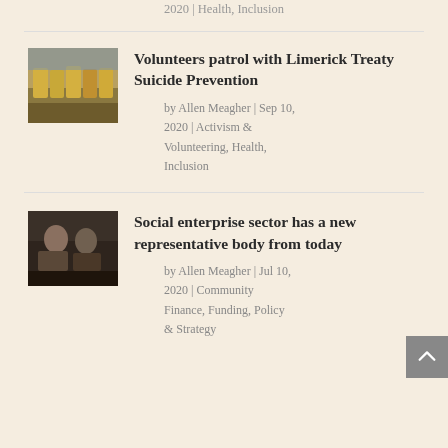2020 | Health, Inclusion
[Figure (photo): Group of volunteers in yellow shirts on a court]
Volunteers patrol with Limerick Treaty Suicide Prevention
by Allen Meagher | Sep 10, 2020 | Activism & Volunteering, Health, Inclusion
[Figure (photo): Two people at a meeting or event indoors]
Social enterprise sector has a new representative body from today
by Allen Meagher | Jul 10, 2020 | Community Finance, Funding, Policy & Strategy